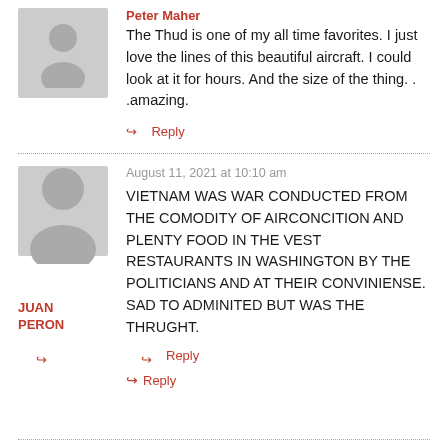The Thud is one of my all time favorites. I just love the lines of this beautiful aircraft. I could look at it for hours. And the size of the thing...amazing.
Peter Maher
↳ Reply
August 11, 2021 at 10:10 am
JUAN PERON
VIETNAM WAS WAR CONDUCTED FROM THE COMODITY OF AIRCONCITION AND PLENTY FOOD IN THE VEST RESTAURANTS IN WASHINGTON BY THE POLITICIANS AND AT THEIR CONVINIENSE. SAD TO ADMINITED BUT WAS THE THRUGHT.
↳ Reply